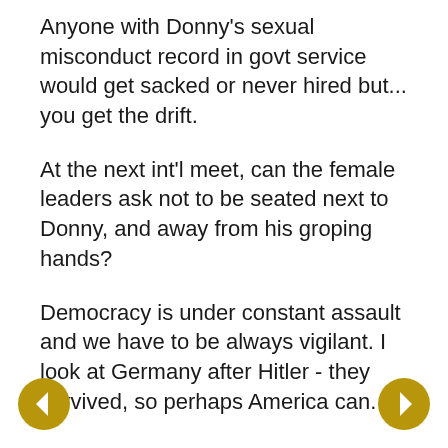Anyone with Donny's sexual misconduct record in govt service would get sacked or never hired but... you get the drift.
At the next int'l meet, can the female leaders ask not to be seated next to Donny, and away from his groping hands?
Democracy is under constant assault and we have to be always vigilant. I look at Germany after Hitler - they survived, so perhaps America can.